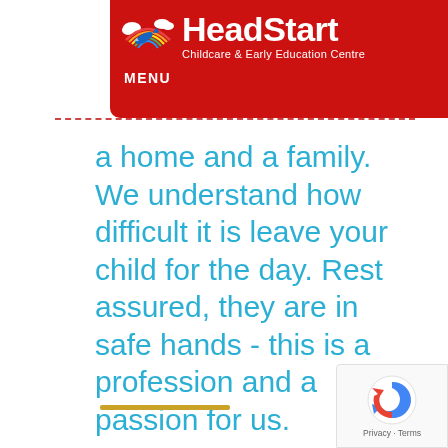[Figure (logo): HeadStart Childcare & Early Education Centre logo on red background with MENU label and rainbow/airplane icon]
a home and a family. We understand how difficult it is leave your child for the day. Rest assured, they are in safe hands - this is a profession and a passion for us.
[Figure (other): Gold/yellow horizontal decorative bar]
[Figure (other): Google reCAPTCHA badge with Privacy · Terms text]